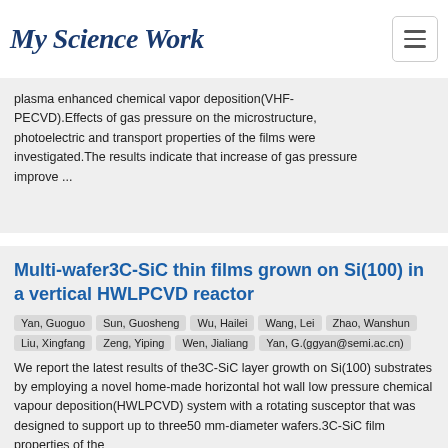My Science Work
plasma enhanced chemical vapor deposition(VHF-PECVD).Effects of gas pressure on the microstructure, photoelectric and transport properties of the films were investigated.The results indicate that increase of gas pressure improve ...
Multi-wafer3C-SiC thin films grown on Si(100) in a vertical HWLPCVD reactor
Yan, Guoguo
Sun, Guosheng
Wu, Hailei
Wang, Lei
Zhao, Wanshun
Liu, Xingfang
Zeng, Yiping
Wen, Jialiang
Yan, G.(ggyan@semi.ac.cn)
We report the latest results of the3C-SiC layer growth on Si(100) substrates by employing a novel home-made horizontal hot wall low pressure chemical vapour deposition(HWLPCVD) system with a rotating susceptor that was designed to support up to three50 mm-diameter wafers.3C-SiC film properties of the